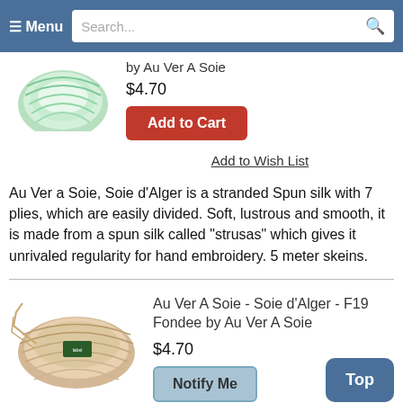≡ Menu  Search...
by Au Ver A Soie
$4.70
Add to Cart
Add to Wish List
Au Ver a Soie, Soie d'Alger is a stranded Spun silk with 7 plies, which are easily divided. Soft, lustrous and smooth, it is made from a spun silk called "strusas" which gives it unrivaled regularity for hand embroidery. 5 meter skeins.
Au Ver A Soie - Soie d'Alger - F19 Fondee by Au Ver A Soie
$4.70
Notify Me
Top